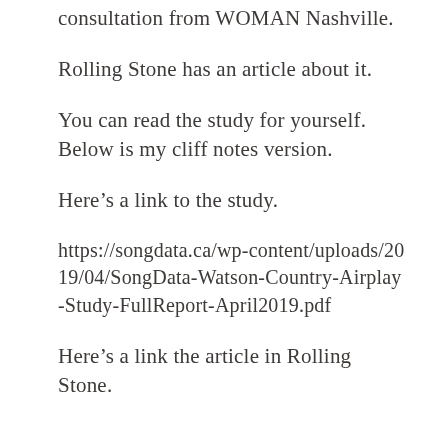consultation from WOMAN Nashville.
Rolling Stone has an article about it.
You can read the study for yourself.  Below is my cliff notes version.
Here’s a link to the study.
https://songdata.ca/wp-content/uploads/2019/04/SongData-Watson-Country-Airplay-Study-FullReport-April2019.pdf
Here’s a link the article in Rolling Stone.